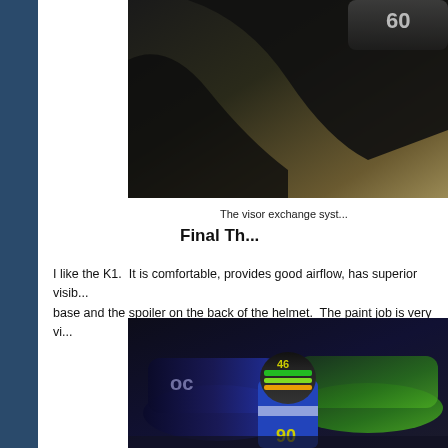[Figure (photo): Close-up photo of a motorcycle helmet visor exchange system, dark tones with grey/brown background]
The visor exchange syst...
Final Th...
I like the K1.  It is comfortable, provides good airflow, has superior visib... base and the spoiler on the back of the helmet.  The paint job is very vi...
[Figure (photo): Photo of a kart racer wearing a colorful helmet with number 46, blue and green racing suit with number 90, in front of blue and green motorcycles in a garage]